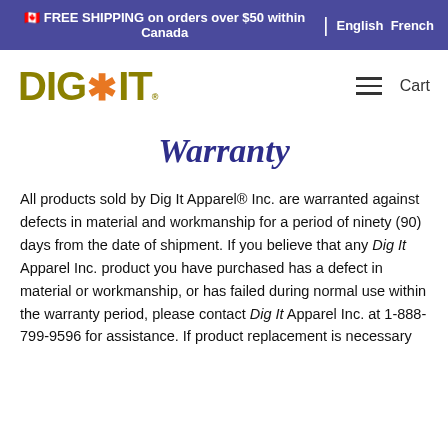🇨🇦 FREE SHIPPING on orders over $50 within Canada | English French
[Figure (logo): DIG*IT logo with olive/gold text and orange asterisk]
Warranty
All products sold by Dig It Apparel® Inc. are warranted against defects in material and workmanship for a period of ninety (90) days from the date of shipment. If you believe that any Dig It Apparel Inc. product you have purchased has a defect in material or workmanship, or has failed during normal use within the warranty period, please contact Dig It Apparel Inc. at 1-888-799-9596 for assistance. If product replacement is necessary